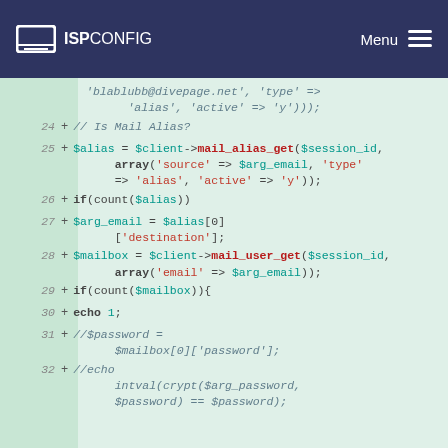ISPConfig | Menu
[Figure (screenshot): Code diff screenshot showing PHP code lines 24-32 with additions marked by + signs, displaying mail alias and mailbox lookup logic]
'blablubb@divepage.net', 'type' => 'alias', 'active' => 'y')));
24 + // Is Mail Alias?
25 + $alias = $client->mail_alias_get($session_id, array('source' => $arg_email, 'type' => 'alias', 'active' => 'y'));
26 + if(count($alias))
27 + $arg_email = $alias[0]['destination'];
28 + $mailbox = $client->mail_user_get($session_id, array('email' => $arg_email));
29 + if(count($mailbox)){
30 + echo 1;
31 + //$password = $mailbox[0]['password'];
32 + //echo intval(crypt($arg_password, $password) == $password);